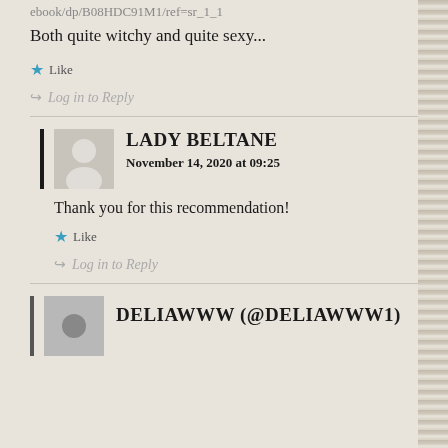ebook/dp/B08HDC91M1/ref=sr_1_1
Both quite witchy and quite sexy...
Like
Log in to Reply
LADY BELTANE
November 14, 2020 at 09:25
Thank you for this recommendation!
Like
Log in to Reply
DELIAWWW (@DELIAWWW1)